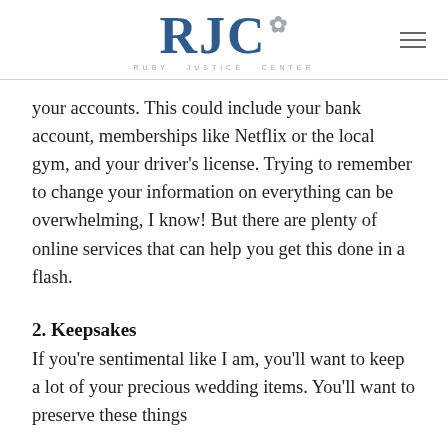[Figure (logo): RJC logo with leaf graphic and subtitle 'RUBY JUSTICE CENTER']
your accounts. This could include your bank account, memberships like Netflix or the local gym, and your driver's license. Trying to remember to change your information on everything can be overwhelming, I know! But there are plenty of online services that can help you get this done in a flash.
2. Keepsakes
If you're sentimental like I am, you'll want to keep a lot of your precious wedding items. You'll want to preserve these things